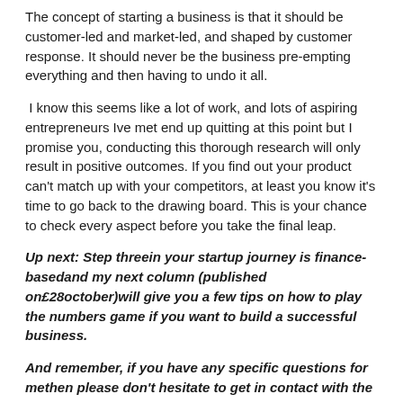The concept of starting a business is that it should be customer-led and market-led, and shaped by customer response. It should never be the business pre-empting everything and then having to undo it all.
I know this seems like a lot of work, and lots of aspiring entrepreneurs Ive met end up quitting at this point but I promise you, conducting this thorough research will only result in positive outcomes. If you find out your product can't match up with your competitors, at least you know it's time to go back to the drawing board. This is your chance to check every aspect before you take the final leap.
Up next: Step threein your startup journey is finance-basedand my next column (published on£28october)will give you a few tips on how to play the numbers game if you want to build a successful business.
And remember, if you have any specific questions for methen please don't hesitate to get in contact with the